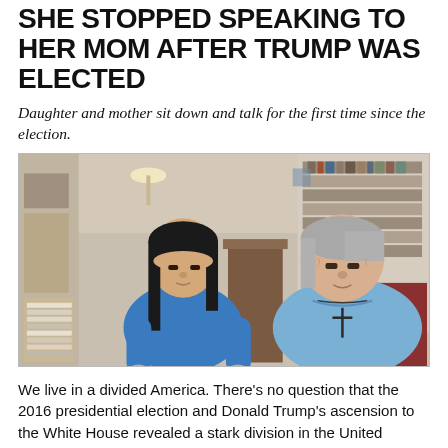SHE STOPPED SPEAKING TO HER MOM AFTER TRUMP WAS ELECTED
Daughter and mother sit down and talk for the first time since the election.
[Figure (photo): A young Asian woman with long dark hair wearing a blue t-shirt sits next to an older heavyset woman with gray hair wearing a light blue polo shirt with a cross necklace. They are seated indoors in a room with bookshelves in the background.]
We live in a divided America. There's no question that the 2016 presidential election and Donald Trump's ascension to the White House revealed a stark division in the United